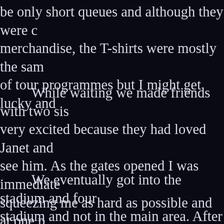be only short queues and although they were merchandise, the T-shirts were mostly the same of tour programmes but I might get lucky and
While waiting we made friends with two sisters very excited because they had loved Janet and see him. As the gates opened I was immediately squeezing me as hard as possible and at one point trying to pull me away from them but she could build kindly rescued me and he stood behind so very grateful to him for doing this as those same thing to someone else later on.
We eventually got into the stadium and found stadium and not in the main area. After initial had always managed before we realised that movements of the people on stage clearing up